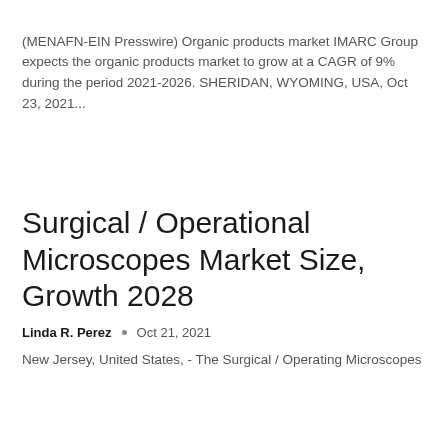(MENAFN-EIN Presswire) Organic products market IMARC Group expects the organic products market to grow at a CAGR of 9% during the period 2021-2026. SHERIDAN, WYOMING, USA, Oct 23, 2021...
Surgical / Operational Microscopes Market Size, Growth 2028
Linda R. Perez  •  Oct 21, 2021
New Jersey, United States, - The Surgical / Operating Microscopes